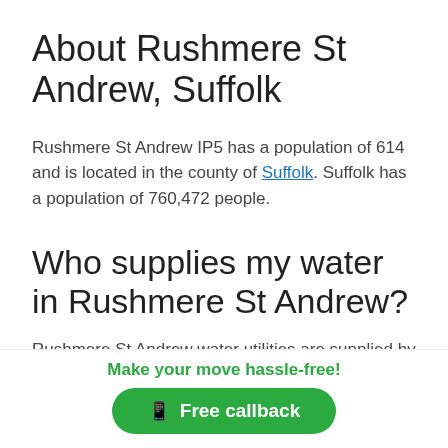About Rushmere St Andrew, Suffolk
Rushmere St Andrew IP5 has a population of 614 and is located in the county of Suffolk. Suffolk has a population of 760,472 people.
Who supplies my water in Rushmere St Andrew?
Rushmere St Andrew water utilities are supplied by Anglian
Make your move hassle-free!
Free callback